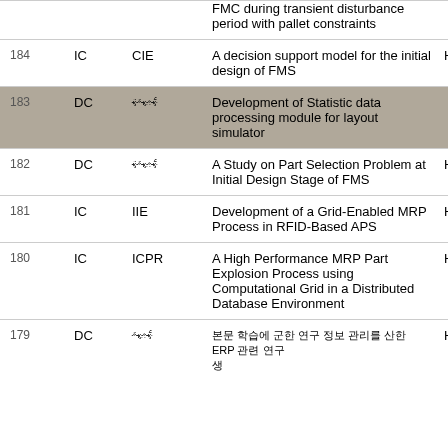| No | Type | Venue | Title | Author |
| --- | --- | --- | --- | --- |
|  |  |  | FMC during transient disturbance period with pallet constraints |  |
| 184 | IC | CIE | A decision support model for the initial design of FMS | Hosu... |
| 183 | DC | 한국어 | Development of Statistic data processing module for layout simulator |  |
| 182 | DC | 한국어 | A Study on Part Selection Problem at Initial Design Stage of FMS | Hosu... |
| 181 | IC | IIE | Development of a Grid-Enabled MRP Process in RFID-Based APS | Hyou... |
| 180 | IC | ICPR | A High Performance MRP Part Explosion Process using Computational Grid in a Distributed Database Environment | Hyou... |
| 179 | DC | 한국어 | 한국어 타이틀 ... ERP 관련 연구 | Hyou... |